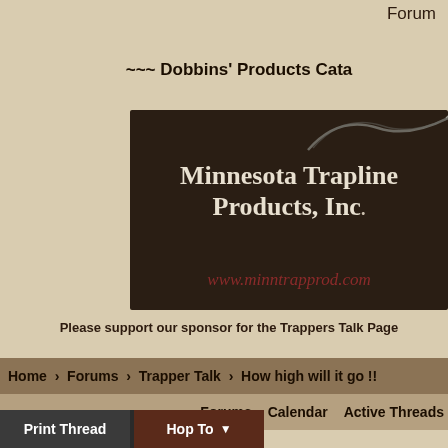Forum
~~~ Dobbins' Products Cata
[Figure (logo): Minnesota Trapline Products, Inc. banner with logo showing a trap/fork silhouette and URL www.minntrapprod.com on dark brown background]
Please support our sponsor for the Trappers Talk Page
Home > Forums > Trapper Talk > How high will it go !!
Forums   Calendar   Active Threads
Print Thread   Hop To ▼